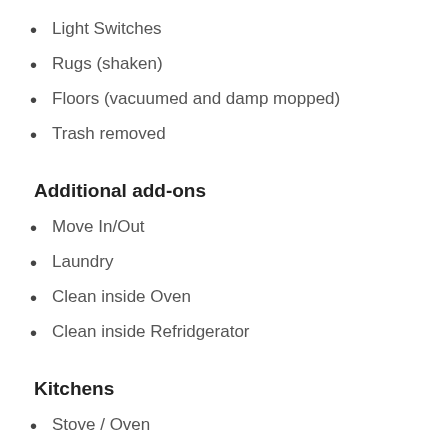Light Switches
Rugs (shaken)
Floors (vacuumed and damp mopped)
Trash removed
Additional add-ons
Move In/Out
Laundry
Clean inside Oven
Clean inside Refridgerator
Kitchens
Stove / Oven
Microwave
Sinks dishes upon request